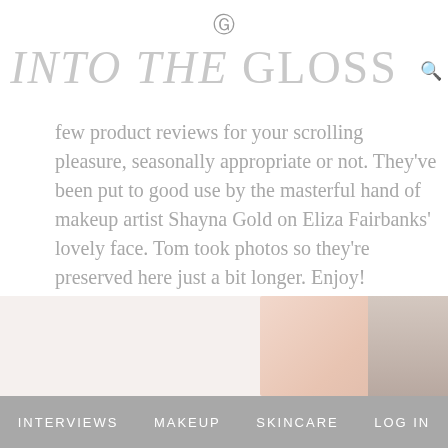INTO THE GLOSS
few product reviews for your scrolling pleasure, seasonally appropriate or not. They've been put to good use by the masterful hand of makeup artist Shayna Gold on Eliza Fairbanks' lovely face. Tom took photos so they're preserved here just a bit longer. Enjoy!
[Figure (photo): Bottom portion of page showing a partial photo of a person's face/hair against a light background]
INTERVIEWS   MAKEUP   SKINCARE   LOG IN